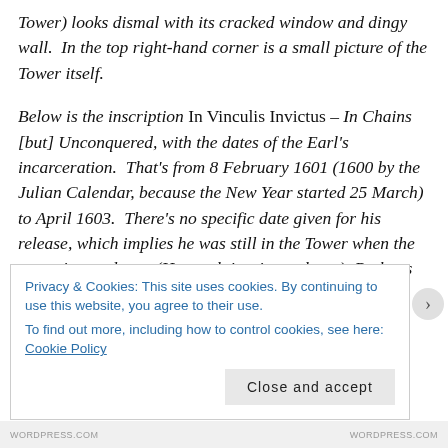Tower) looks dismal with its cracked window and dingy wall.  In the top right-hand corner is a small picture of the Tower itself.
Below is the inscription In Vinculis Invictus – In Chains [but] Unconquered, with the dates of the Earl's incarceration.  That's from 8 February 1601 (1600 by the Julian Calendar, because the New Year started 25 March) to April 1603.  There's no specific date given for his release, which implies he was still in the Tower when the portrait was done.  (Harry claims it was later.)  Perhaps that was a
Privacy & Cookies: This site uses cookies. By continuing to use this website, you agree to their use.
To find out more, including how to control cookies, see here: Cookie Policy
Close and accept